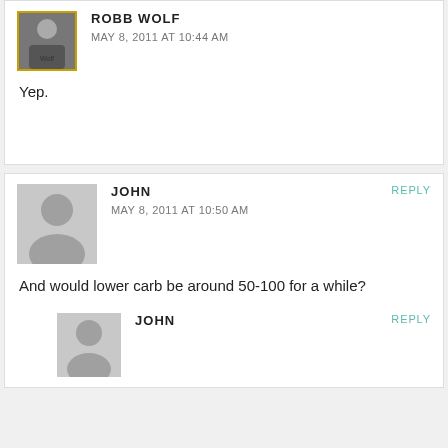[Figure (photo): Avatar photo of Robb Wolf with yellow-gold border, showing a person in dark clothing]
ROBB WOLF
MAY 8, 2011 AT 10:44 AM
Yep.
[Figure (photo): Generic gray placeholder avatar silhouette for user John]
JOHN
MAY 8, 2011 AT 10:50 AM
REPLY
And would lower carb be around 50-100 for a while?
[Figure (photo): Generic gray placeholder avatar silhouette for second John comment]
JOHN
REPLY